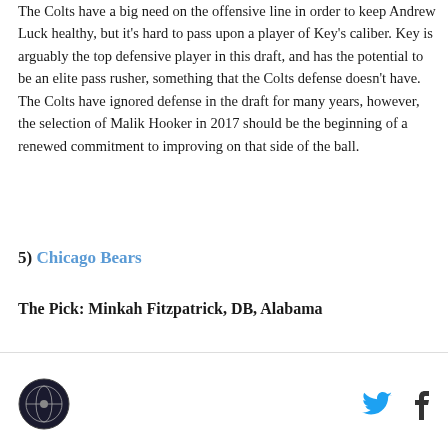The Colts have a big need on the offensive line in order to keep Andrew Luck healthy, but it's hard to pass upon a player of Key's caliber. Key is arguably the top defensive player in this draft, and has the potential to be an elite pass rusher, something that the Colts defense doesn't have. The Colts have ignored defense in the draft for many years, however, the selection of Malik Hooker in 2017 should be the beginning of a renewed commitment to improving on that side of the ball.
5) Chicago Bears
The Pick: Minkah Fitzpatrick, DB, Alabama
[logo] [twitter] [facebook]